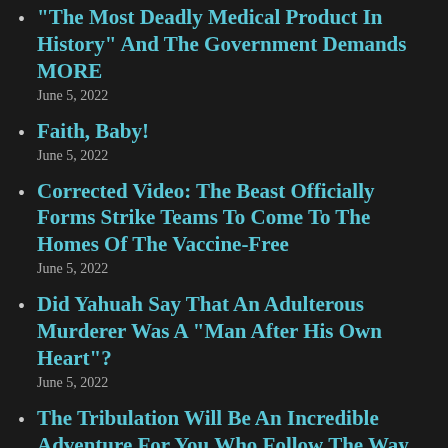“The Most Deadly Medical Product In History” And The Government Demands MORE
June 5, 2022
Faith, Baby!
June 5, 2022
Corrected Video: The Beast Officially Forms Strike Teams To Come To The Homes Of The Vaccine-Free
June 5, 2022
Did Yahuah Say That An Adulterous Murderer Was A “Man After His Own Heart”?
June 5, 2022
The Tribulation Will Be An Incredible Adventure For You Who Follow The Way
June 5, 2022
The Price of Power...